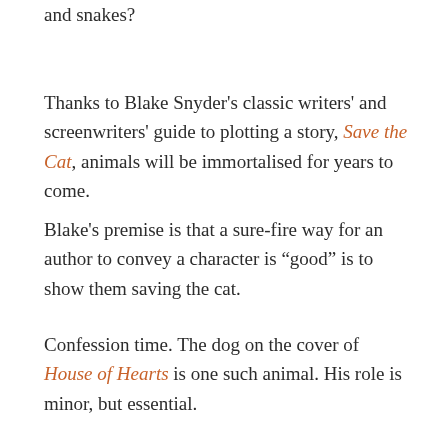and snakes?
Thanks to Blake Snyder's classic writers' and screenwriters' guide to plotting a story, Save the Cat, animals will be immortalised for years to come.
Blake's premise is that a sure-fire way for an author to convey a character is “good” is to show them saving the cat.
Confession time. The dog on the cover of House of Hearts is one such animal. His role is minor, but essential.